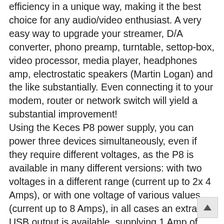efficiency in a unique way, making it the best choice for any audio/video enthusiast. A very easy way to upgrade your streamer, D/A converter, phono preamp, turntable, settop-box, video processor, media player, headphones amp, electrostatic speakers (Martin Logan) and the like substantially. Even connecting it to your modem, router or network switch will yield a substantial improvement! Using the Keces P8 power supply, you can power three devices simultaneously, even if they require different voltages, as the P8 is available in many different versions: with two voltages in a different range (current up to 2x 4 Amps), or with one voltage of various values (current up to 8 Amps), in all cases an extra USB output is available, supplying 1 Amp of maximum current. Electronics inside are from an exceptional reliability and have a high efficiency, compared to normal linear power supply designs, so energy waste is kept to a minimum. Stabilisation is done using a discrete design, there's no standard